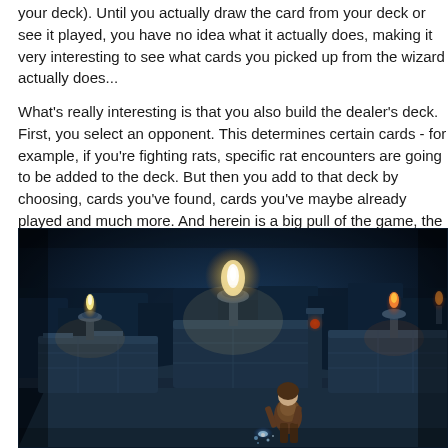your deck). Until you actually draw the card from your deck or see it played, you have no idea what it actually does, making it very interesting to see what cards you picked up from the wizard actually does...
What's really interesting is that you also build the dealer's deck. First, you select an opponent. This determines certain cards - for example, if you're fighting rats, specific rat encounters are going to be added to the deck. But then you add to that deck by choosing, cards you've found, cards you've maybe already played and much more. And herein is a big pull of the game, the concept of the quest lines...
[Figure (screenshot): Screenshot from a dark fantasy video game showing a rooftop or stone platform scene at night with torches burning, a glowing figure in the center background, and a warrior character in the foreground holding a glowing weapon. The environment features stone architecture with multiple platforms and blue-tinted atmospheric lighting.]